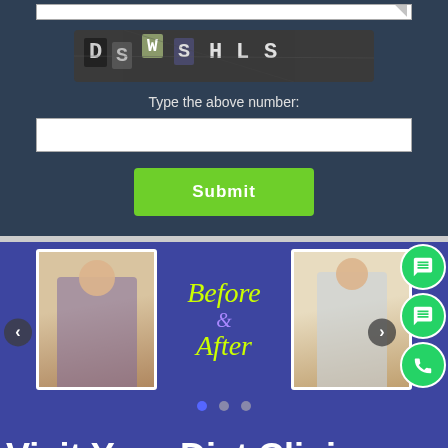[Figure (screenshot): CAPTCHA image showing characters: DS WS HLS on dark background]
Type the above number:
[Figure (screenshot): Web form section with captcha input field and Submit button on dark blue background]
[Figure (photo): Before and After slider section on blue background showing two photos of a woman, with cursive text 'Before & After' in green]
Visit Your Diet Clinic "Nutri